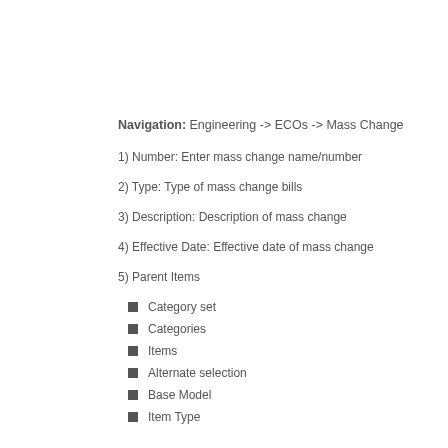Navigation: Engineering -> ECOs -> Mass Change
1) Number: Enter mass change name/number
2) Type: Type of mass change bills
3) Description: Description of mass change
4) Effective Date: Effective date of mass change
5) Parent Items
Category set
Categories
Items
Alternate selection
Base Model
Item Type